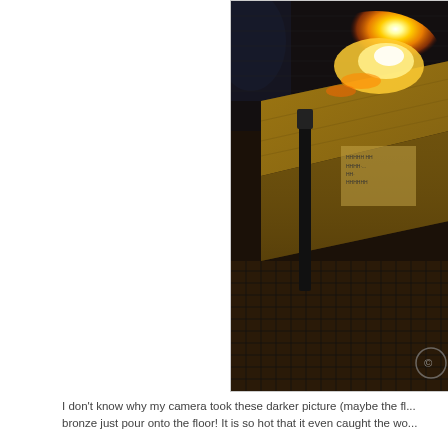[Figure (photo): A dark photograph showing a wooden mold or box on a metal grid floor with a bright orange glowing molten bronze pour visible at the top, illuminating the scene with warm orange light against a dark background.]
I don't know why my camera took these darker picture (maybe the fl... bronze just pour onto the floor!  It is so hot that it even caught the wo...